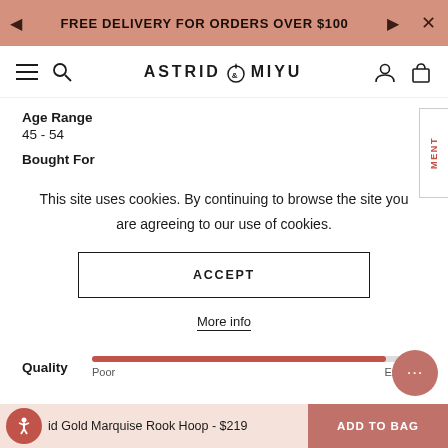FREE DELIVERY FOR ORDERS OVER $100
[Figure (logo): Astrid & Miyu logo with navigation icons (hamburger menu, search, user, bag)]
Age Range
45 - 54
Bought For
This site uses cookies. By continuing to browse the site you are agreeing to our use of cookies.
ACCEPT
More info
Quality
Poor
Excellent
id Gold Marquise Rook Hoop - $219   ADD TO BAG